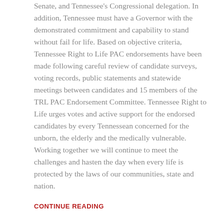Senate, and Tennessee's Congressional delegation. In addition, Tennessee must have a Governor with the demonstrated commitment and capability to stand without fail for life. Based on objective criteria, Tennessee Right to Life PAC endorsements have been made following careful review of candidate surveys, voting records, public statements and statewide meetings between candidates and 15 members of the TRL PAC Endorsement Committee. Tennessee Right to Life urges votes and active support for the endorsed candidates by every Tennessean concerned for the unborn, the elderly and the medically vulnerable. Working together we will continue to meet the challenges and hasten the day when every life is protected by the laws of our communities, state and nation.
CONTINUE READING